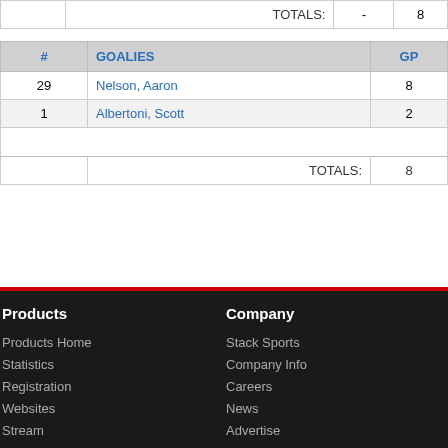|  |  | TOTALS: | - | 8 |
| --- | --- | --- | --- | --- |
|  |  | TOTALS: | - | 8 |
| # | GOALIES | GP |
| --- | --- | --- |
| 29 | Nelson, Aaron | 8 |
| 1 | Albertoni, Scott | 2 |
|  | TOTALS: | 8 |
Products
Products Home
Statistics
Registration
Websites
Stream
Company
Stack Sports
Company Info
Careers
News
Advertise